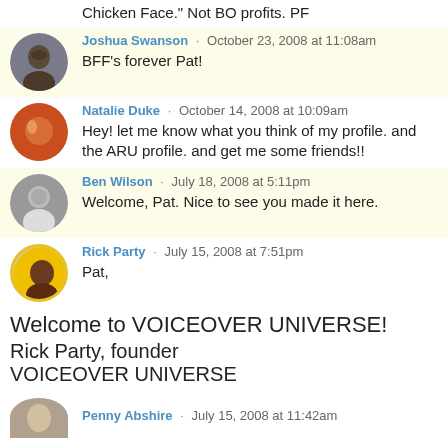Chicken Face." Not BO profits. PF
Joshua Swanson · October 23, 2008 at 11:08am
BFF's forever Pat!
Natalie Duke · October 14, 2008 at 10:09am
Hey! let me know what you think of my profile. and the ARU profile. and get me some friends!!
Ben Wilson · July 18, 2008 at 5:11pm
Welcome, Pat. Nice to see you made it here.
Rick Party · July 15, 2008 at 7:51pm
Pat,
Welcome to VOICEOVER UNIVERSE!
Rick Party, founder
VOICEOVER UNIVERSE
Penny Abshire · July 15, 2008 at 11:42am